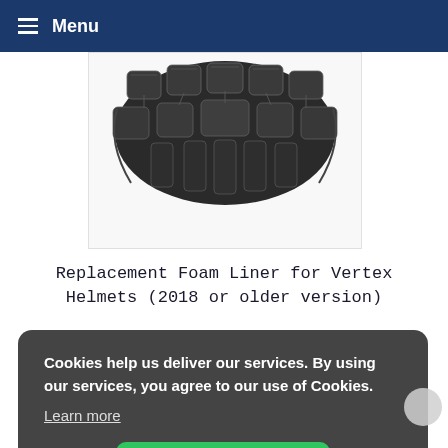Menu
[Figure (photo): Dark gray foam liner product with segmented rectangular foam pads arranged in a helmet liner pattern, shown from below against a white background.]
Replacement Foam Liner for Vertex Helmets (2018 or older version)
Cookies help us deliver our services. By using our services, you agree to our use of Cookies.
Learn more
I understand!